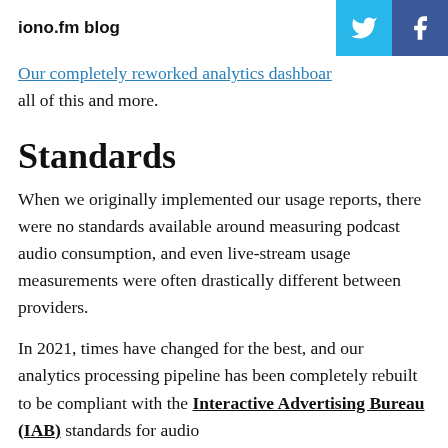iono.fm blog
Our completely reworked analytics dashboard all of this and more.
Standards
When we originally implemented our usage reports, there were no standards available around measuring podcast audio consumption, and even live-stream usage measurements were often drastically different between providers.
In 2021, times have changed for the best, and our analytics processing pipeline has been completely rebuilt to be compliant with the Interactive Advertising Bureau (IAB) standards for audio